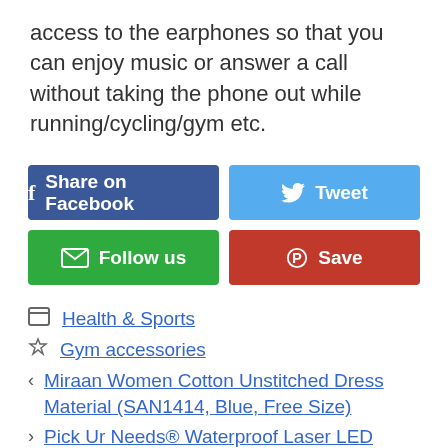access to the earphones so that you can enjoy music or answer a call without taking the phone out while running/cycling/gym etc.
[Figure (other): Social sharing buttons: Share on Facebook (blue), Tweet (light blue), Follow us (green), Save/Pinterest (red)]
Health & Sports
Gym accessories
Miraan Women Cotton Unstitched Dress Material (SAN1414, Blue, Free Size)
Pick Ur Needs® Waterproof Laser LED Adjustable Head lamp Rechargeable